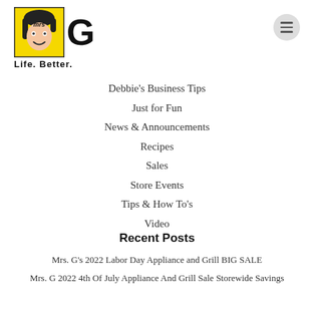[Figure (logo): Mrs. G appliance store logo with illustrated woman face in yellow box, 'mrs' text, large 'G' letter, and tagline 'Life. Better.']
Debbie's Business Tips
Just for Fun
News & Announcements
Recipes
Sales
Store Events
Tips & How To's
Video
Recent Posts
Mrs. G's 2022 Labor Day Appliance and Grill BIG SALE
Mrs. G 2022 4th Of July Appliance And Grill Sale Storewide Savings